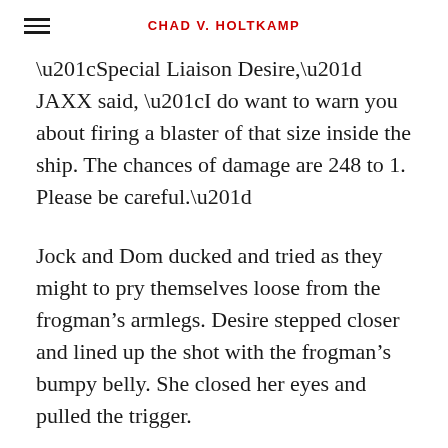CHAD V. HOLTKAMP
“Special Liaison Desire,” JAXX said, “I do want to warn you about firing a blaster of that size inside the ship. The chances of damage are 248 to 1. Please be careful.”
Jock and Dom ducked and tried as they might to pry themselves loose from the frogman’s armlegs. Desire stepped closer and lined up the shot with the frogman’s bumpy belly. She closed her eyes and pulled the trigger.
“Bull’s-eye!” Dom yelled.